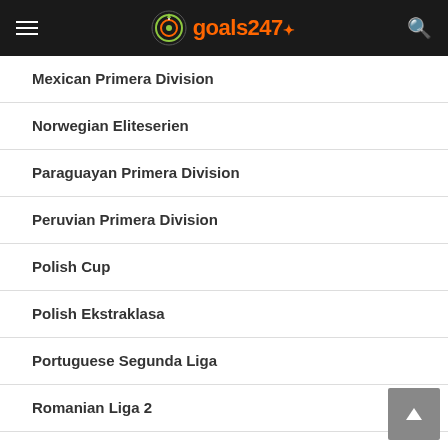goals247
Mexican Primera Division
Norwegian Eliteserien
Paraguayan Primera Division
Peruvian Primera Division
Polish Cup
Polish Ekstraklasa
Portuguese Segunda Liga
Romanian Liga 2
Romanian Liga I